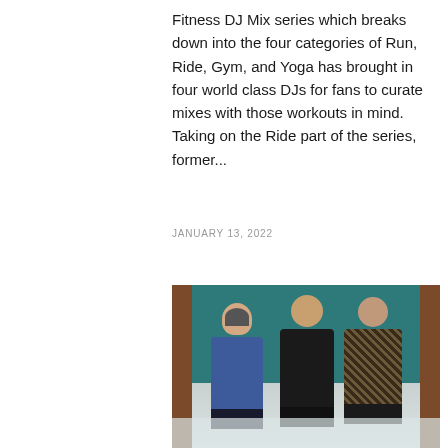Fitness DJ Mix series which breaks down into the four categories of Run, Ride, Gym, and Yoga has brought in four world class DJs for fans to curate mixes with those workouts in mind. Taking on the Ride part of the series, former...
JANUARY 13, 2022
[Figure (photo): Three men standing in front of a teal/dark green wall with wooden door frames. Left man wears a blue shirt, middle man in black outfit with arms crossed, right man in patterned jacket with sunglasses and red scarf.]